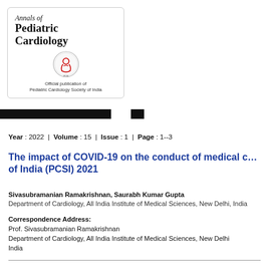[Figure (logo): Annals of Pediatric Cardiology journal logo with emblem. Official publication of Pediatric Cardiology Society of India.]
Year : 2022  |  Volume : 15  |  Issue : 1  |  Page : 1--3
The impact of COVID-19 on the conduct of medical c... of India (PCSI) 2021
Sivasubramanian Ramakrishnan, Saurabh Kumar Gupta
Department of Cardiology, All India Institute of Medical Sciences, New Delhi, India
Correspondence Address:
Prof. Sivasubramanian Ramakrishnan
Department of Cardiology, All India Institute of Medical Sciences, New Delhi
India